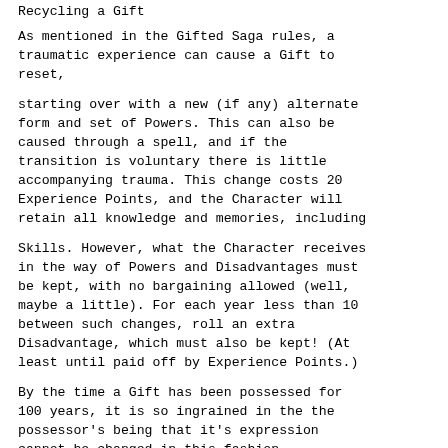Recycling a Gift
As mentioned in the Gifted Saga rules, a traumatic experience can cause a Gift to reset,
starting over with a new (if any) alternate form and set of Powers. This can also be caused through a spell, and if the transition is voluntary there is little accompanying trauma. This change costs 20 Experience Points, and the Character will retain all knowledge and memories, including
Skills. However, what the Character receives in the way of Powers and Disadvantages must be kept, with no bargaining allowed (well, maybe a little). For each year less than 10 between such changes, roll an extra Disadvantage, which must also be kept! (At least until paid off by Experience Points.)
By the time a Gift has been possessed for 100 years, it is so ingrained in the the possessor's being that it's expression cannot be changed in this fashion.